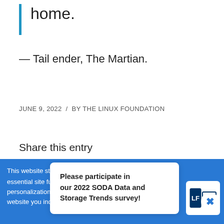home.
— Tail ender, The Martian.
JUNE 9, 2022 / BY THE LINUX FOUNDATION
Share this entry
[Figure (other): Social share icons row: Facebook, Twitter, WhatsApp, Pinterest, LinkedIn, Tumblr, VK, Reddit, Email]
This website stores cookies on your computer to enable essential site functionality, personalization, and analytics. By using this website you indicate your consent.
Please participate in our 2022 SODA Data and Storage Trends survey!
[Figure (logo): The Linux Foundation logo]